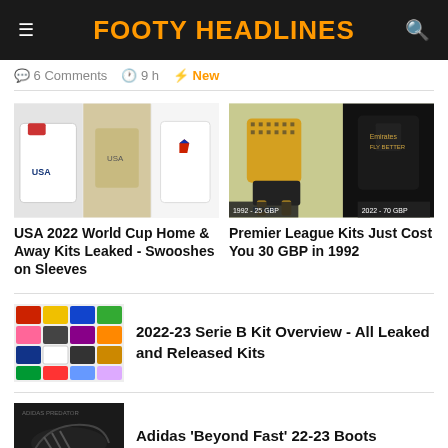FOOTY HEADLINES
6 Comments  9 h  ⚡ New
[Figure (photo): USA 2022 World Cup home and away kits leaked photo collage]
USA 2022 World Cup Home & Away Kits Leaked - Swooshes on Sleeves
[Figure (photo): Premier League kits from 1992 costing 25 GBP and 2022 costing 70 GBP]
Premier League Kits Just Cost You 30 GBP in 1992
[Figure (photo): 2022-23 Serie B kit overview collage of all leaked and released kits]
2022-23 Serie B Kit Overview - All Leaked and Released Kits
[Figure (photo): Adidas Beyond Fast 22-23 boots photo]
Adidas 'Beyond Fast' 22-23 Boots